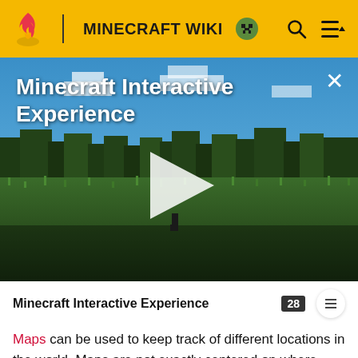MINECRAFT WIKI
[Figure (screenshot): Minecraft game screenshot showing a grass field and trees under a blue sky, used as video thumbnail with play button overlay. Title reads 'Minecraft Interactive Experience'.]
Minecraft Interactive Experience
Maps can be used to keep track of different locations in the world. Maps are not exactly centered on where they are activated, because they snap to a grid. They also